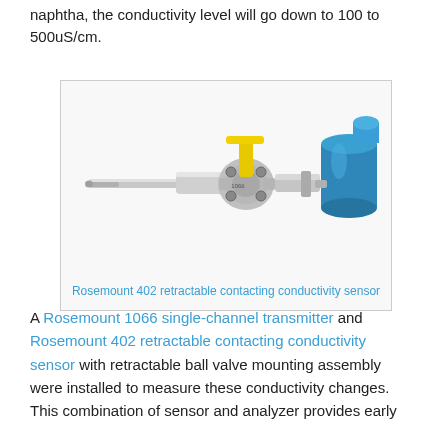naphtha, the conductivity level will go down to 100 to 500uS/cm.
[Figure (photo): Rosemount 402 retractable contacting conductivity sensor — a stainless steel sensor probe with ball valve and yellow handle, connected to a blue cylindrical transmitter housing.]
Rosemount 402 retractable contacting conductivity sensor
A Rosemount 1066 single-channel transmitter and Rosemount 402 retractable contacting conductivity sensor with retractable ball valve mounting assembly were installed to measure these conductivity changes. This combination of sensor and analyzer provides early